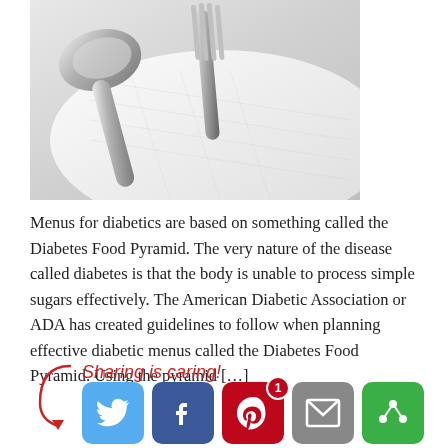[Figure (photo): Black and white close-up photo of a spoon and fork resting on a cloth napkin]
Menus for diabetics are based on something called the Diabetes Food Pyramid. The very nature of the disease called diabetes is that the body is unable to process simple sugars effectively. The American Diabetic Association or ADA has created guidelines to follow when planning effective diabetic menus called the Diabetes Food Pyramid. Using the pyramid […]
Sharing is caring!